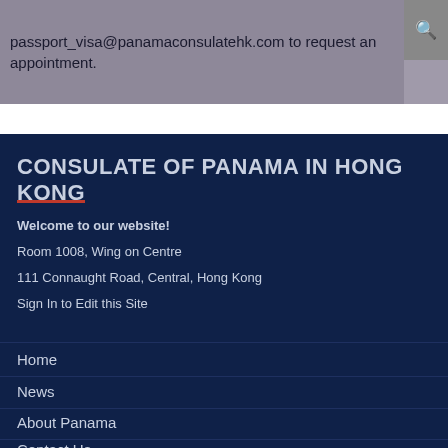passport_visa@panamaconsulatehk.com to request an appointment.
CONSULATE OF PANAMA IN HONG KONG
Welcome to our website!
Room 1008, Wing on Centre
111 Connaught Road, Central, Hong Kong
Sign In to Edit this Site
Home
News
About Panama
Contact Us